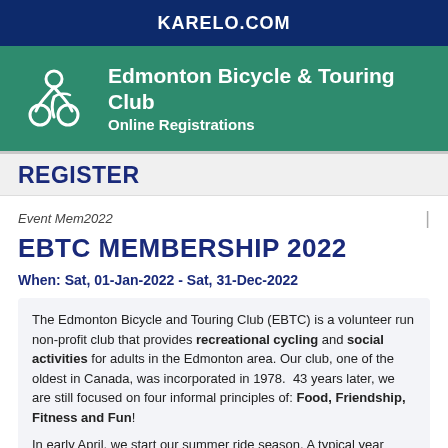KARELO.COM
[Figure (logo): Edmonton Bicycle & Touring Club logo with cyclist icon on green background, showing 'Edmonton Bicycle & Touring Club Online Registrations']
REGISTER
Event Mem2022
EBTC MEMBERSHIP 2022
When: Sat, 01-Jan-2022 - Sat, 31-Dec-2022
The Edmonton Bicycle and Touring Club (EBTC) is a volunteer run non-profit club that provides recreational cycling and social activities for adults in the Edmonton area. Our club, one of the oldest in Canada, was incorporated in 1978. 43 years later, we are still focused on four informal principles of: Food, Friendship, Fitness and Fun!
In early April, we start our summer ride season. A typical year...